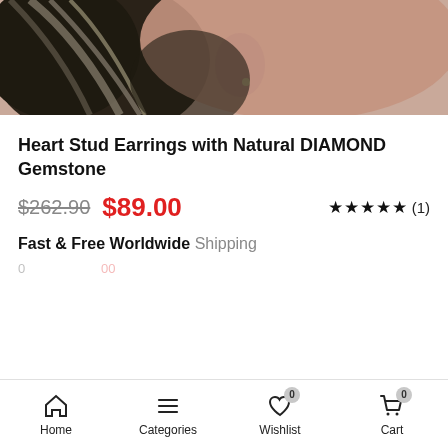[Figure (photo): Close-up photo of a person's ear and neck area with dark wavy hair, showing an earring, against a skin-toned background.]
Heart Stud Earrings with Natural DIAMOND Gemstone
$262.90  $89.00  ★★★★★ (1)
Fast & Free Worldwide Shipping
Home  Categories  Wishlist 0  Cart 0